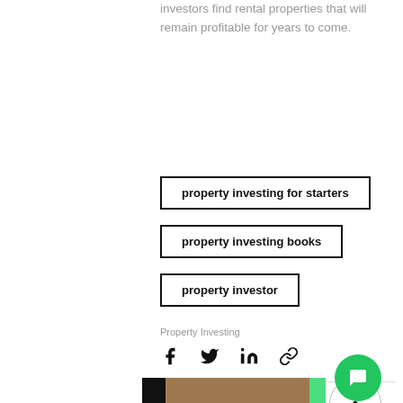investors find rental properties that will remain profitable for years to come.
property investing for starters
property investing books
property investor
Property Investing
[Figure (other): Social share icons: Facebook, Twitter, LinkedIn, Link]
89
Recent Posts
[Figure (photo): Thumbnail images at the bottom of the page]